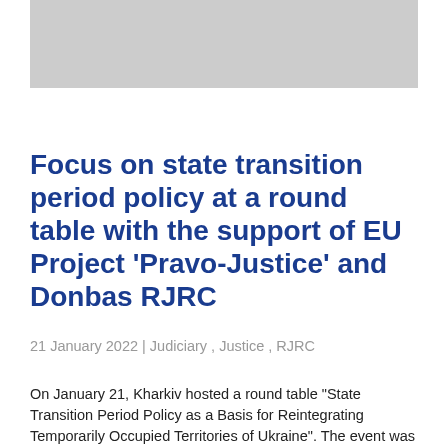[Figure (photo): Gray placeholder image at the top of the page]
Focus on state transition period policy at a round table with the support of EU Project 'Pravo-Justice' and Donbas RJRC
21 January 2022 | Judiciary , Justice , RJRC
On January 21, Kharkiv hosted a round table "State Transition Period Policy as a Basis for Reintegrating Temporarily Occupied Territories of Ukraine". The event was